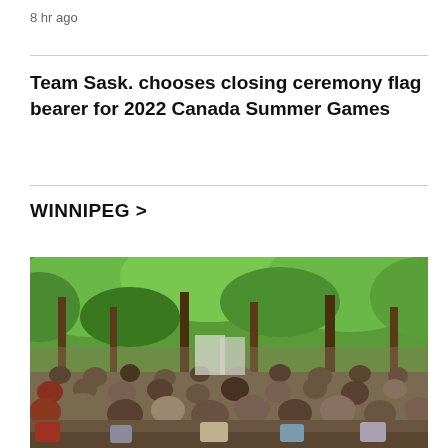8 hr ago
Team Sask. chooses closing ceremony flag bearer for 2022 Canada Summer Games
WINNIPEG >
[Figure (photo): Outdoor crowd gathered among green trees, watching a speaker or performer at what appears to be an outdoor event or ceremony in a park setting.]